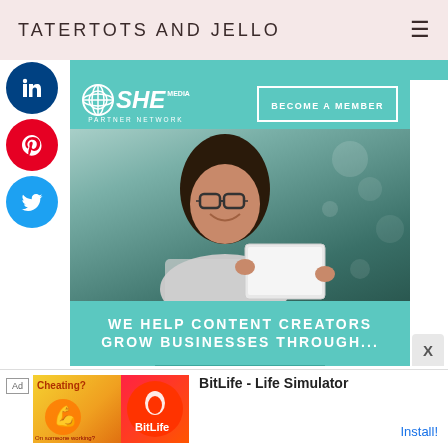TATERTOTS AND JELLO
[Figure (screenshot): Social media share sidebar with LinkedIn (blue), Pinterest (red), and Twitter (blue) circular buttons on the left side]
[Figure (infographic): SHE Media Partner Network advertisement. Teal background banner with logo and 'BECOME A MEMBER' button. Photo of smiling woman with glasses using a tablet. Text: 'WE HELP CONTENT CREATORS GROW BUSINESSES THROUGH...' with a 'LEARN MORE' button.]
[Figure (screenshot): Bottom banner ad: Ad label, Cheating? animated image, BitLife app icon, text 'BitLife - Life Simulator', Install button]